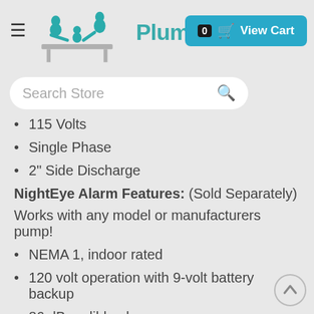Plumbing Mall .com
115 Volts
Single Phase
2" Side Discharge
NightEye Alarm Features: (Sold Separately)
Works with any model or manufacturers pump!
NEMA 1, indoor rated
120 volt operation with 9-volt battery backup
86 dB audible alarm
20 ft. Cord
Super bright red LED alarm ring